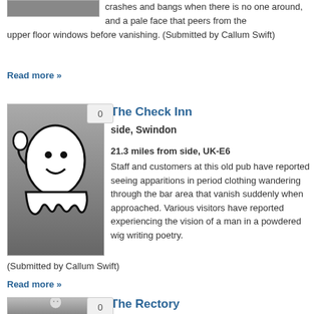[Figure (illustration): Cropped ghost illustration image at top]
crashes and bangs when there is no one around, and a pale face that peers from the upper floor windows before vanishing. (Submitted by Callum Swift)
Read more »
[Figure (illustration): Ghost cartoon illustration on dark grey background with vote badge showing 0]
The Check Inn
side, Swindon
21.3 miles from side, UK-E6
Staff and customers at this old pub have reported seeing apparitions in period clothing wandering through the bar area that vanish suddenly when approached. Various visitors have reported experiencing the vision of a man in a powdered wig writing poetry.
(Submitted by Callum Swift)
Read more »
[Figure (illustration): Ghost cartoon illustration partially visible at bottom with vote badge showing 0]
The Rectory
Yatton Keynell, Wiltshire
22.6 miles from side, UK-E6